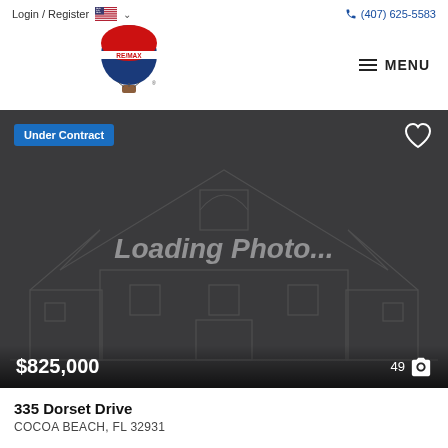Login / Register   🇺🇸 ∨   (407) 625-5583
[Figure (logo): RE/MAX hot air balloon logo in red, white and blue]
MENU
[Figure (photo): Dark grey listing card showing 'Loading Photo...' placeholder with wireframe house illustration. Badge: 'Under Contract'. Price: $825,000. Photo count: 49.]
335 Dorset Drive
COCOA BEACH, FL 32931